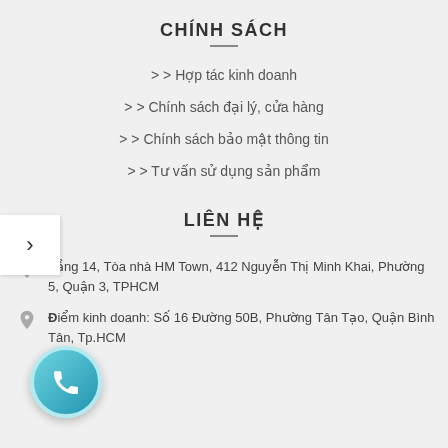CHÍNH SÁCH
> Hợp tác kinh doanh
> Chính sách đại lý, cửa hàng
> Chính sách bảo mật thông tin
> Tư vấn sử dụng sản phẩm
LIÊN HỆ
Tầng 14, Tòa nhà HM Town, 412 Nguyễn Thị Minh Khai, Phường 5, Quận 3, TPHCM
Điểm kinh doanh: Số 16 Đường 50B, Phường Tân Tạo, Quận Bình Tân, Tp.HCM